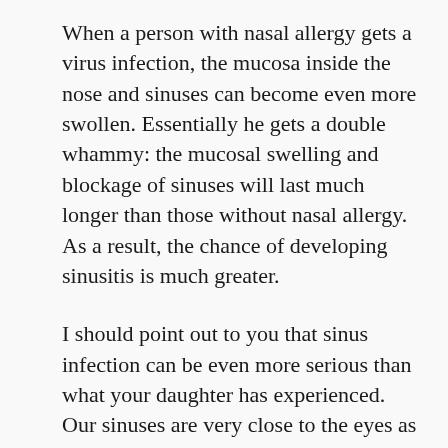When a person with nasal allergy gets a virus infection, the mucosa inside the nose and sinuses can become even more swollen. Essentially he gets a double whammy: the mucosal swelling and blockage of sinuses will last much longer than those without nasal allergy. As a result, the chance of developing sinusitis is much greater.
I should point out to you that sinus infection can be even more serious than what your daughter has experienced. Our sinuses are very close to the eyes as well as to